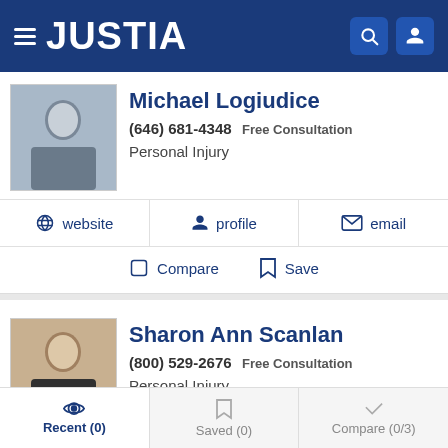JUSTIA
Michael Logiudice
(646) 681-4348 Free Consultation
Personal Injury
website | profile | email
Compare | Save
Sharon Ann Scanlan
(800) 529-2676 Free Consultation
Personal Injury
website | profile | email
Recent (0) | Saved (0) | Compare (0/3)